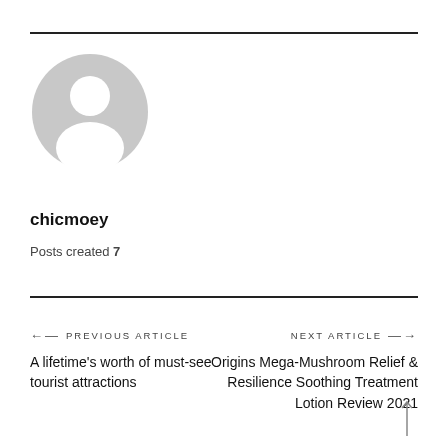[Figure (illustration): Generic user avatar icon: gray circle with a white silhouette of a person (head and shoulders)]
chicmoey
Posts created 7
← PREVIOUS ARTICLE
A lifetime's worth of must-see tourist attractions
NEXT ARTICLE →
Origins Mega-Mushroom Relief & Resilience Soothing Treatment Lotion Review 2021